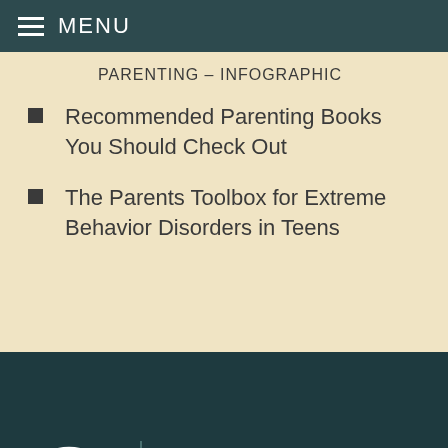MENU
PARENTING – INFOGRAPHIC
Recommended Parenting Books You Should Check Out
The Parents Toolbox for Extreme Behavior Disorders in Teens
[Figure (logo): Sundance Canyon Academy circular logo with leaf icon]
We Help Boys From These States